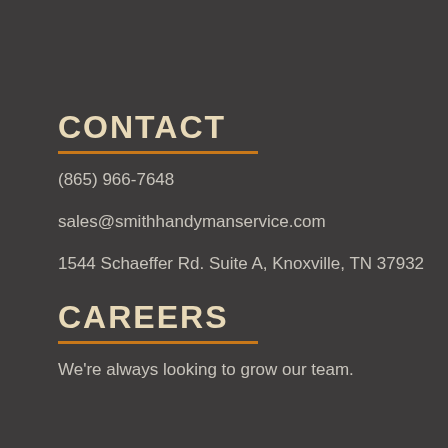CONTACT
(865) 966-7648
sales@smithhandymanservice.com
1544 Schaeffer Rd. Suite A, Knoxville, TN 37932
CAREERS
We're always looking to grow our team.